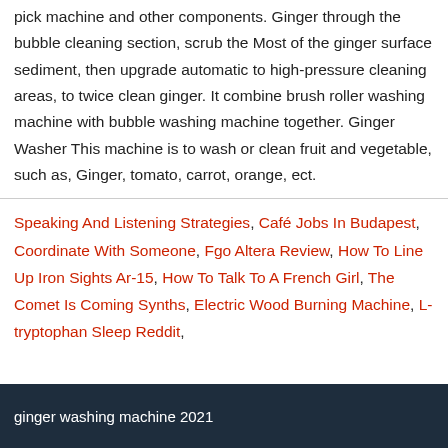pick machine and other components. Ginger through the bubble cleaning section, scrub the Most of the ginger surface sediment, then upgrade automatic to high-pressure cleaning areas, to twice clean ginger. It combine brush roller washing machine with bubble washing machine together. Ginger Washer This machine is to wash or clean fruit and vegetable, such as, Ginger, tomato, carrot, orange, ect.
Speaking And Listening Strategies, Café Jobs In Budapest, Coordinate With Someone, Fgo Altera Review, How To Line Up Iron Sights Ar-15, How To Talk To A French Girl, The Comet Is Coming Synths, Electric Wood Burning Machine, L-tryptophan Sleep Reddit,
ginger washing machine 2021